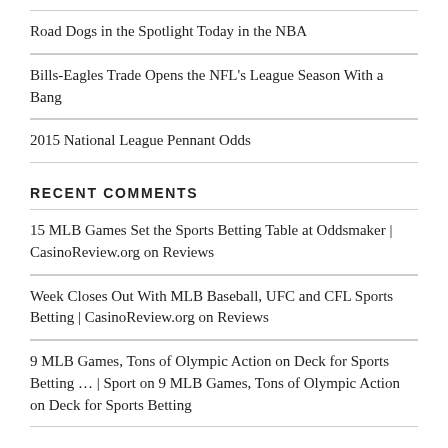Road Dogs in the Spotlight Today in the NBA
Bills-Eagles Trade Opens the NFL's League Season With a Bang
2015 National League Pennant Odds
RECENT COMMENTS
15 MLB Games Set the Sports Betting Table at Oddsmaker | CasinoReview.org on Reviews
Week Closes Out With MLB Baseball, UFC and CFL Sports Betting | CasinoReview.org on Reviews
9 MLB Games, Tons of Olympic Action on Deck for Sports Betting … | Sport on 9 MLB Games, Tons of Olympic Action on Deck for Sports Betting